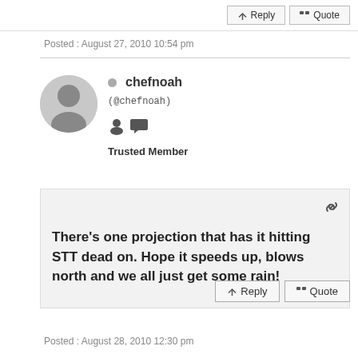Posted : August 27, 2010 10:54 pm
chefnoah (@chefnoah) Trusted Member
There's one projection that has it hitting STT dead on. Hope it speeds up, blows north and we all just get some rain!
Posted : August 28, 2010 12:30 pm